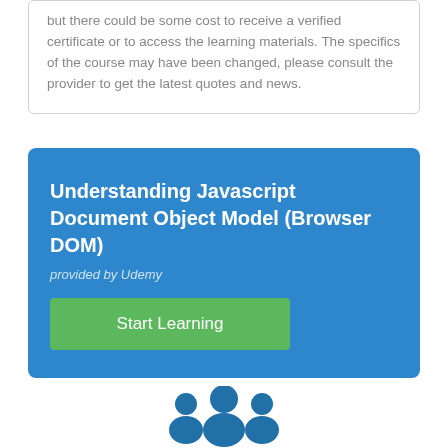but there could be some cost to receive a verified certificate or to access the learning materials. The specifics of the course may have been changed, please consult the provider to get the latest quotes and news.
Understanding Javascript Document Object Model (Browser DOM)
provided by Udemy
[Figure (illustration): People/community icon showing three human figures in blue, representing users or learners]